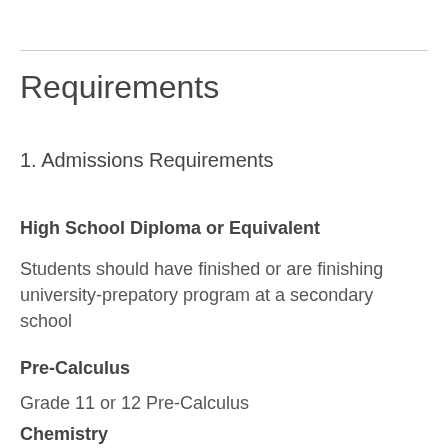Requirements
1. Admissions Requirements
High School Diploma or Equivalent
Students should have finished or are finishing university-prepatory program at a secondary school
Pre-Calculus
Grade 11 or 12 Pre-Calculus
Chemistry